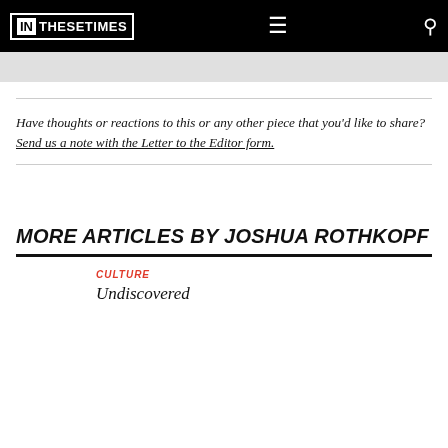IN THESE TIMES
Have thoughts or reactions to this or any other piece that you'd like to share? Send us a note with the Letter to the Editor form.
MORE ARTICLES BY JOSHUA ROTHKOPF
CULTURE
Undiscovered